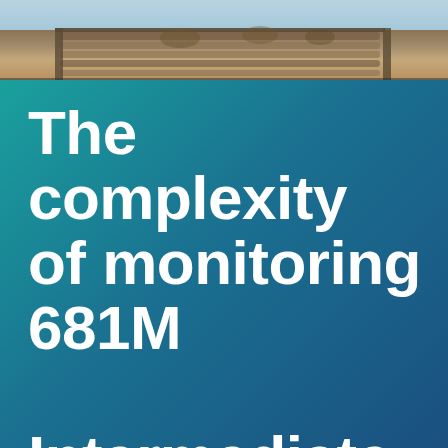[Figure (photo): Photograph strip at top of page showing wooden logs or cattle/livestock in a rustic outdoor setting, partially visible as a cropped banner image.]
The complexity of monitoring 681M Intermediate